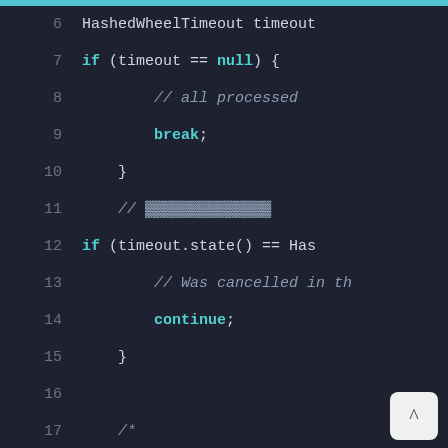[Figure (screenshot): Dark-themed code editor screenshot showing Java/Netty source code lines 6-24, with syntax highlighting. Line numbers in gray on the left, keywords in cyan, comments in italic gray/blue. Code includes if-null check with break, cancelled state check with continue, and a block comment about remainingRounds calculation, followed by a long variable declaration.]